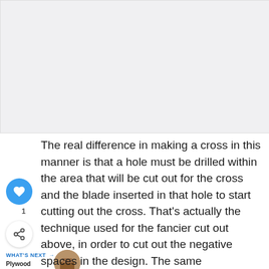[Figure (photo): Blank/light gray image placeholder area at top of page]
The real difference in making a cross in this manner is that a hole must be drilled within the area that will be cut out for the cross and the blade inserted in that hole to start cutting out the cross. That's actually the technique used for the fancier cut out above, in order to cut out the negative spaces in the design. The same